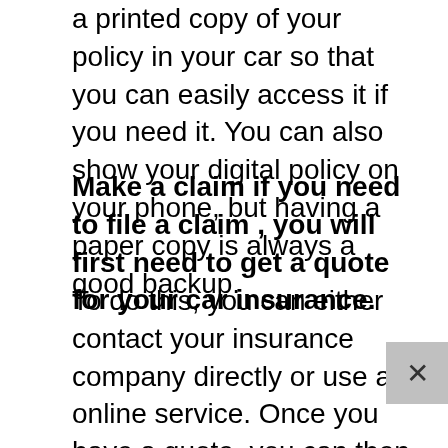a printed copy of your policy in your car so that you can easily access it if you need it. You can also show your digital policy on your phone, but having a paper copy is always a good backup.
Make a claim if you need to file a claim , you will first need to get a quote for your car insurance.
To do this, you can either contact your insurance company directly or use an online service. Once you have a quote, you can then begin the process of filing a claim. Depending on your insurance company, this may involve filling out a form online or over the phone. You will also need to provide some basic information about yourself and